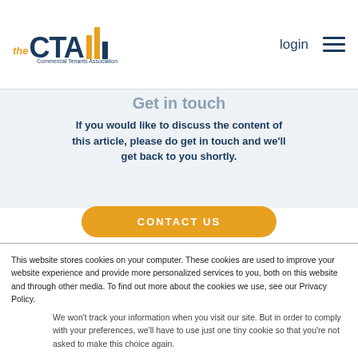the CTA Commercial Tenants Association | login
Get in touch
If you would like to discuss the content of this article, please do get in touch and we'll get back to you shortly.
CONTACT US
This website stores cookies on your computer. These cookies are used to improve your website experience and provide more personalized services to you, both on this website and through other media. To find out more about the cookies we use, see our Privacy Policy.
We won't track your information when you visit our site. But in order to comply with your preferences, we'll have to use just one tiny cookie so that you're not asked to make this choice again.
Accept
Decline